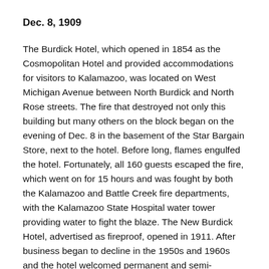Dec. 8, 1909
The Burdick Hotel, which opened in 1854 as the Cosmopolitan Hotel and provided accommodations for visitors to Kalamazoo, was located on West Michigan Avenue between North Burdick and North Rose streets. The fire that destroyed not only this building but many others on the block began on the evening of Dec. 8 in the basement of the Star Bargain Store, next to the hotel. Before long, flames engulfed the hotel. Fortunately, all 160 guests escaped the fire, which went on for 15 hours and was fought by both the Kalamazoo and Battle Creek fire departments, with the Kalamazoo State Hospital water tower providing water to fight the blaze. The New Burdick Hotel, advertised as fireproof, opened in 1911. After business began to decline in the 1950s and 1960s and the hotel welcomed permanent and semi-